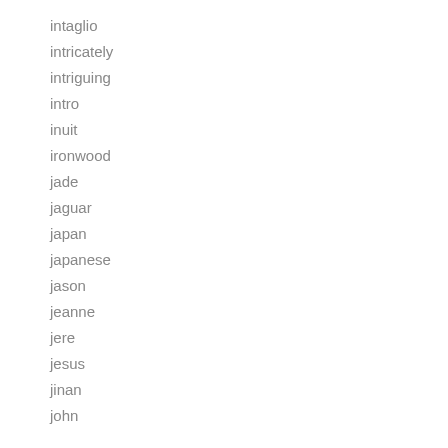intaglio
intricately
intriguing
intro
inuit
ironwood
jade
jaguar
japan
japanese
jason
jeanne
jere
jesus
jinan
john